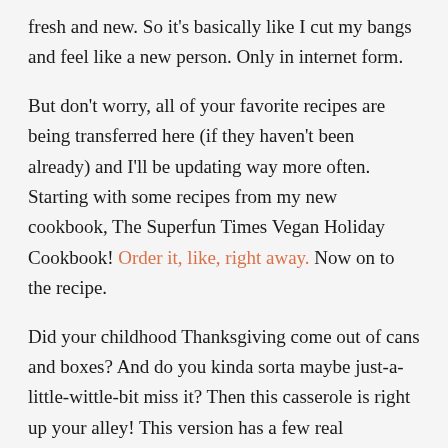fresh and new. So it's basically like I cut my bangs and feel like a new person. Only in internet form.
But don't worry, all of your favorite recipes are being transferred here (if they haven't been already) and I'll be updating way more often. Starting with some recipes from my new cookbook, The Superfun Times Vegan Holiday Cookbook! Order it, like, right away. Now on to the recipe.
Did your childhood Thanksgiving come out of cans and boxes? And do you kinda sorta maybe just-a-little-wittle-bit miss it? Then this casserole is right up your alley! This version has a few real ingredients, but don't let that fool you, it's still as embarrassingly good as its